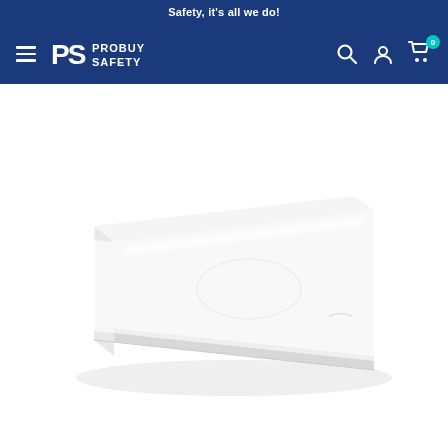Safety, it's all we do!
[Figure (logo): ProBuy Safety logo with stylized PS letters on dark blue navigation bar with hamburger menu, search icon, user icon, and cart icon showing 0 items]
[Figure (photo): White rectangular product (appears to be a flat white plastic lid or cutting board) shown in perspective/isometric view on white background]